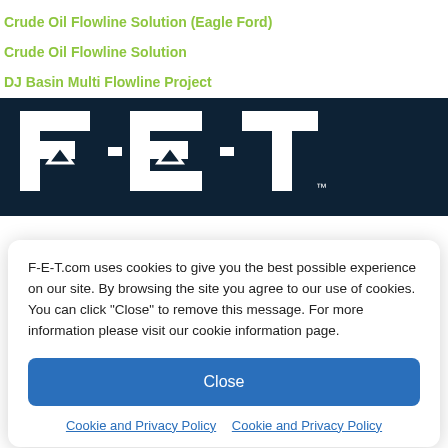Crude Oil Flowline Solution (Eagle Ford)
Crude Oil Flowline Solution
DJ Basin Multi Flowline Project
[Figure (logo): FE-T logo in white on dark navy blue background with trademark symbol]
F-E-T.com uses cookies to give you the best possible experience on our site. By browsing the site you agree to our use of cookies. You can click “Close” to remove this message. For more information please visit our cookie information page.
Close
Cookie and Privacy Policy   Cookie and Privacy Policy